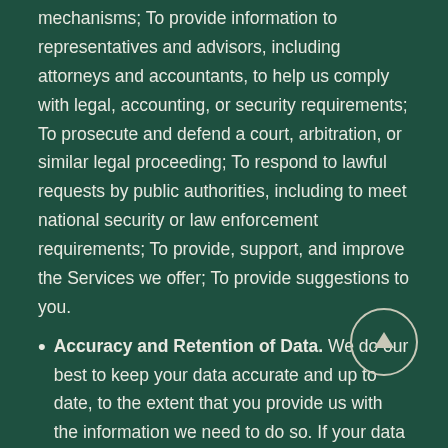mechanisms; To provide information to representatives and advisors, including attorneys and accountants, to help us comply with legal, accounting, or security requirements; To prosecute and defend a court, arbitration, or similar legal proceeding; To respond to lawful requests by public authorities, including to meet national security or law enforcement requirements; To provide, support, and improve the Services we offer; To provide suggestions to you.
Accuracy and Retention of Data. We do our best to keep your data accurate and up to date, to the extent that you provide us with the information we need to do so. If your data changes (for example, if you have a new email address), then you are responsible for notifying us of those changes at...